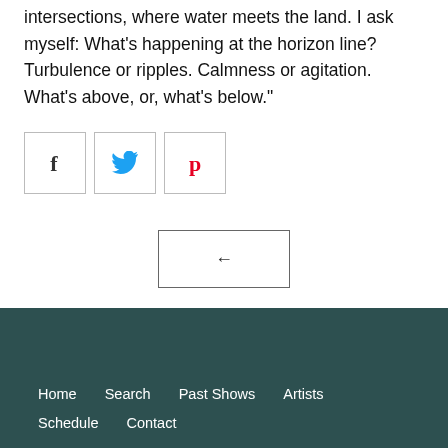intersections, where water meets the land. I ask myself: What's happening at the horizon line? Turbulence or ripples. Calmness or agitation. What's above, or, what's below."
[Figure (other): Row of three social sharing buttons: Facebook (f icon), Twitter (bird icon), Pinterest (p icon), each in a square outlined box]
[Figure (other): Back navigation button: a rectangle with a left-arrow (←) centered inside]
Home   Search   Past Shows   Artists   Schedule   Contact